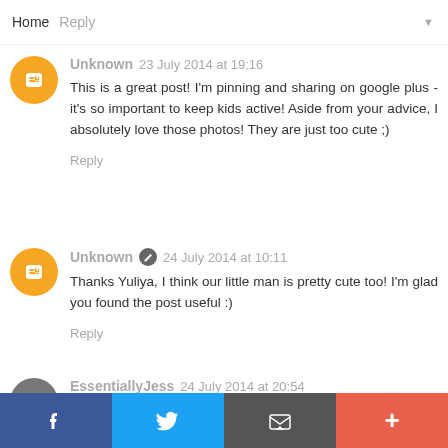Home  Reply
Unknown  23 July 2014 at 19:16
This is a great post! I'm pinning and sharing on google plus - it's so important to keep kids active! Aside from your advice, I absolutely love those photos! They are just too cute ;)
Reply
Unknown  24 July 2014 at 10:11
Thanks Yuliya, I think our little man is pretty cute too! I'm glad you found the post useful :)
Reply
EssentiallyJess  24 July 2014 at 20:54